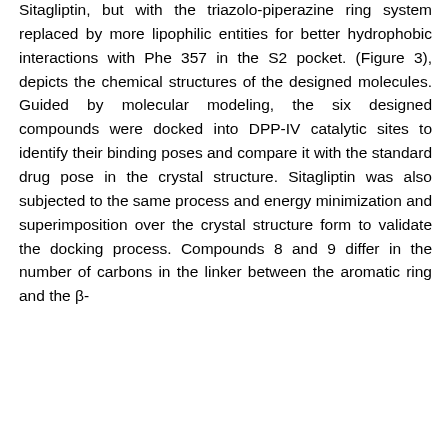Sitagliptin, but with the triazolo-piperazine ring system replaced by more lipophilic entities for better hydrophobic interactions with Phe 357 in the S2 pocket. (Figure 3), depicts the chemical structures of the designed molecules. Guided by molecular modeling, the six designed compounds were docked into DPP-IV catalytic sites to identify their binding poses and compare it with the standard drug pose in the crystal structure. Sitagliptin was also subjected to the same process and energy minimization and superimposition over the crystal structure form to validate the docking process. Compounds 8 and 9 differ in the number of carbons in the linker between the aromatic ring and the β-